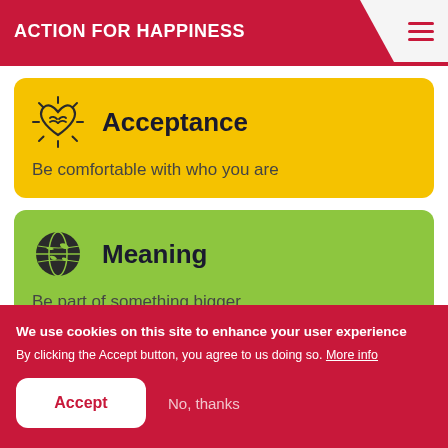ACTION FOR HAPPINESS
[Figure (illustration): Yellow card with heart/hands icon. Title: Acceptance. Subtitle: Be comfortable with who you are]
[Figure (illustration): Green card with globe icon. Title: Meaning. Subtitle: Be part of something bigger]
We use cookies on this site to enhance your user experience
By clicking the Accept button, you agree to us doing so. More info
Accept
No, thanks